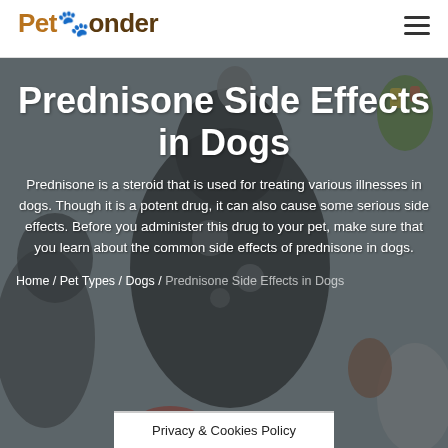PetPonder
Prednisone Side Effects in Dogs
Prednisone is a steroid that is used for treating various illnesses in dogs. Though it is a potent drug, it can also cause some serious side effects. Before you administer this drug to your pet, make sure that you learn about the common side effects of prednisone in dogs.
Home / Pet Types / Dogs / Prednisone Side Effects in Dogs
Privacy & Cookies Policy